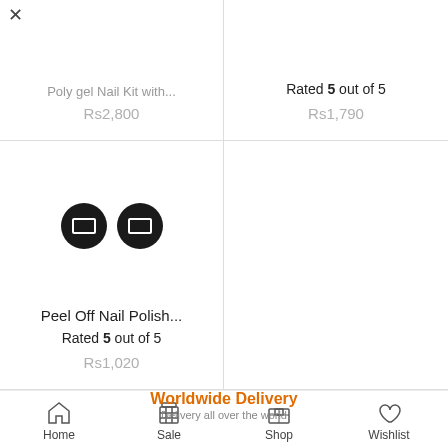Poly gel Nail Kit with... Rs2,800
Rated 5 out of 5 Rs1,790
[Figure (photo): Two black circular color swatch buttons for nail polish selection]
Peel Off Nail Polish...
Rated 5 out of 5
Rs1,020
Worldwide Delivery
Delivery all over the world
Home  Sale  Shop  Wishlist